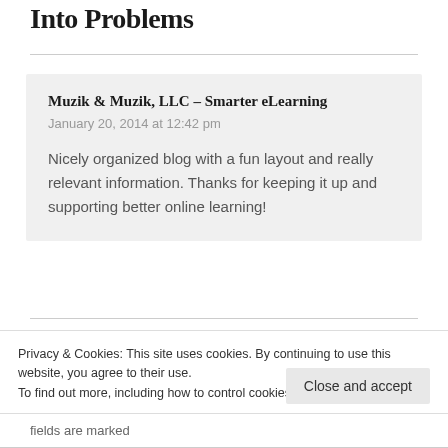Into Problems
Muzik & Muzik, LLC – Smarter eLearning
January 20, 2014 at 12:42 pm

Nicely organized blog with a fun layout and really relevant information. Thanks for keeping it up and supporting better online learning!
Privacy & Cookies: This site uses cookies. By continuing to use this website, you agree to their use.
To find out more, including how to control cookies, see here: Cookie Policy
Close and accept
fields are marked